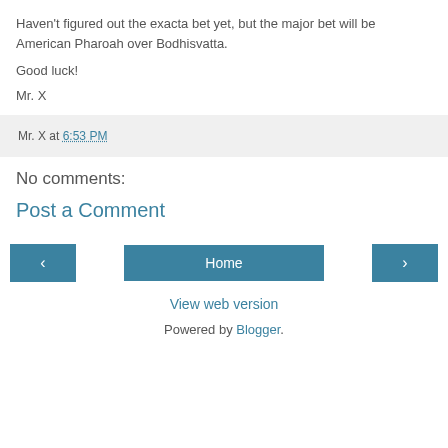Haven't figured out the exacta bet yet, but the major bet will be American Pharoah over Bodhisvatta.
Good luck!
Mr. X
Mr. X at 6:53 PM
No comments:
Post a Comment
Home
View web version
Powered by Blogger.